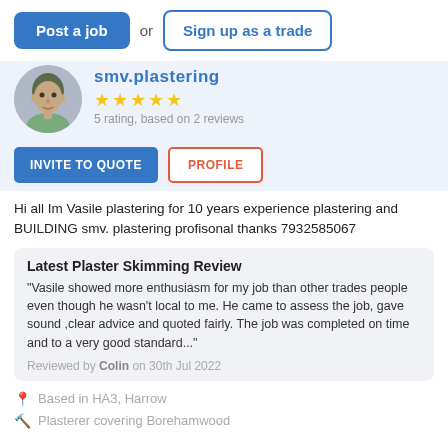[Figure (other): Navigation buttons: 'Post a job' (blue filled) and 'Sign up as a trade' (blue outline), separated by 'or']
[Figure (photo): Circular profile photo of a man]
smv.plastering
[Figure (other): 5 yellow star rating icons]
5 rating, based on 2 reviews
[Figure (other): Two buttons: 'INVITE TO QUOTE' (blue filled) and 'PROFILE' (red/orange outline)]
Hi all Im Vasile plastering for 10 years experience plastering and BUILDING smv. plastering profisonal thanks 7932585067
Latest Plaster Skimming Review
"Vasile showed more enthusiasm for my job than other trades people even though he wasn't local to me. He came to assess the job, gave sound ,clear advice and quoted fairly. The job was completed on time and to a very good standard..."
Reviewed by Colin on 30th Jul 2022
Based in HA3, Harrow
Plasterer covering Borehamwood